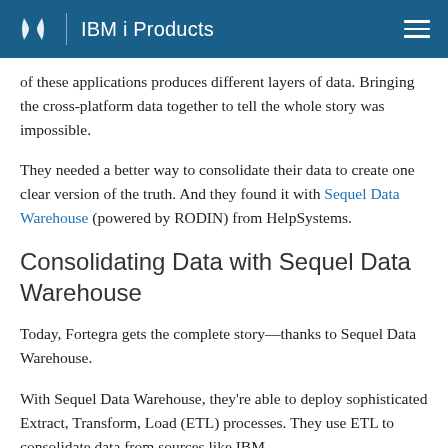IBM i Products
of these applications produces different layers of data. Bringing the cross-platform data together to tell the whole story was impossible.
They needed a better way to consolidate their data to create one clear version of the truth. And they found it with Sequel Data Warehouse (powered by RODIN) from HelpSystems.
Consolidating Data with Sequel Data Warehouse
Today, Fortegra gets the complete story—thanks to Sequel Data Warehouse.
With Sequel Data Warehouse, they're able to deploy sophisticated Extract, Transform, Load (ETL) processes. They use ETL to consolidate data from sources like IBM DB Mi...